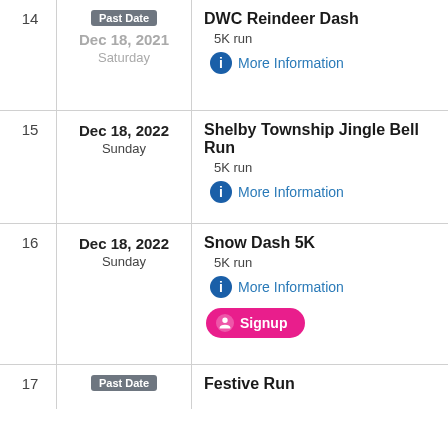| # | Date | Event |
| --- | --- | --- |
| 14 | Past Date
Dec 18, 2021
Saturday | DWC Reindeer Dash
5K run
More Information |
| 15 | Dec 18, 2022
Sunday | Shelby Township Jingle Bell Run
5K run
More Information |
| 16 | Dec 18, 2022
Sunday | Snow Dash 5K
5K run
More Information
Signup |
| 17 | Past Date | Festive Run |